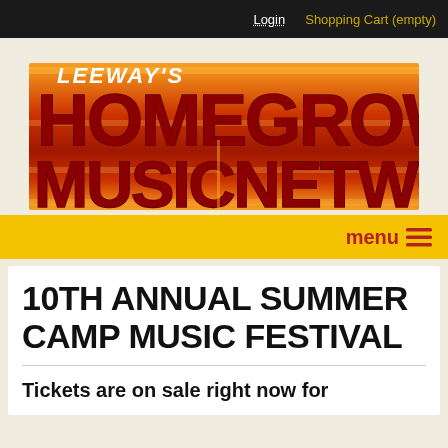Login  Shopping Cart (empty)
[Figure (logo): Leeway's Homegrown Music Network logo with large red block text on orange/red gradient horizontal band background]
menu ≡
10TH ANNUAL SUMMER CAMP MUSIC FESTIVAL
Tickets are on sale right now for